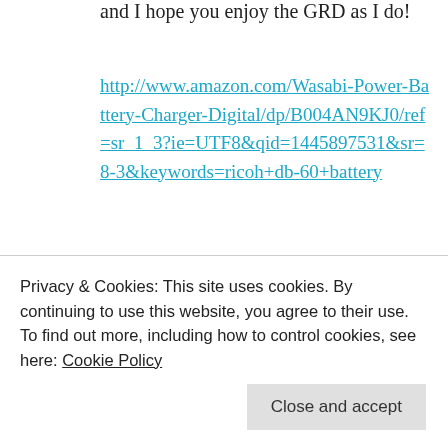and I hope you enjoy the GRD as I do!
http://www.amazon.com/Wasabi-Power-Battery-Charger-Digital/dp/B004AN9KJ0/ref=sr_1_3?ie=UTF8&qid=1445897531&sr=8-3&keywords=ricoh+db-60+battery
★ Like
REPLY
Sam★
Privacy & Cookies: This site uses cookies. By continuing to use this website, you agree to their use.
To find out more, including how to control cookies, see here: Cookie Policy
Close and accept